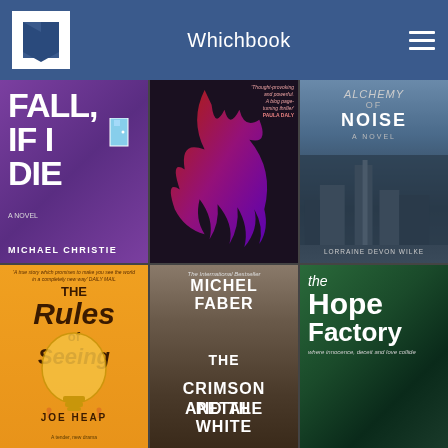Whichbook
[Figure (photo): Book cover: Fall If I Die by Michael Christie, purple background with large white text]
[Figure (photo): Book cover: The Coven by Lizzie Fry, dark background with red and purple flame-like design]
[Figure (photo): Book cover: Alchemy of Noise, A Novel by Lorraine Devon Wilke, stormy city skyline]
[Figure (photo): Book cover: The Rules of Seeing by Joe Heap, orange background with lightbulb illustration]
[Figure (photo): Book cover: The Crimson Petal and the White by Michel Faber, international bestseller]
[Figure (photo): Book cover: The Hope Factory, green textured background with tagline 'where innocence, deceit and love collide']